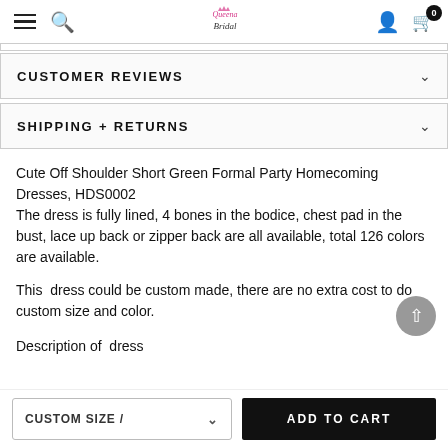Queena Bridal — navigation bar with hamburger, search, logo, user icon, cart (0)
CUSTOMER REVIEWS
SHIPPING + RETURNS
Cute Off Shoulder Short Green Formal Party Homecoming Dresses, HDS0002
The dress is fully lined, 4 bones in the bodice, chest pad in the bust, lace up back or zipper back are all available, total 126 colors are available.
This dress could be custom made, there are no extra cost to do custom size and color.
Description of dress